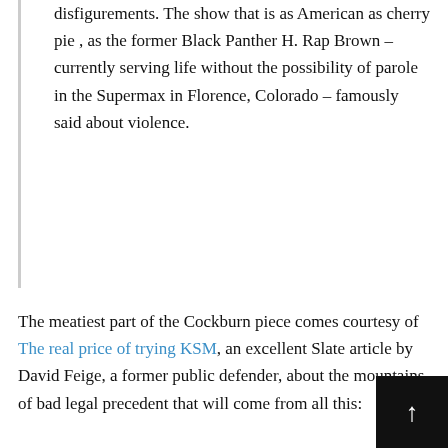disfigurements. The show that is as American as cherry pie , as the former Black Panther H. Rap Brown – currently serving life without the possibility of parole in the Supermax in Florence, Colorado – famously said about violence.
The meatiest part of the Cockburn piece comes courtesy of The real price of trying KSM, an excellent Slate article by David Feige, a former public defender, about the mountains of bad legal precedent that will come from all this:
At each stage of the appellate process, a higher court will countenance the cowardly decisions made by the trial judge, ennobling them with the unfortunate force of precedent. The judicial refusal to consider KSM's years of quasi-legal military detention as a violation of his right to a speedy trial will erode that already